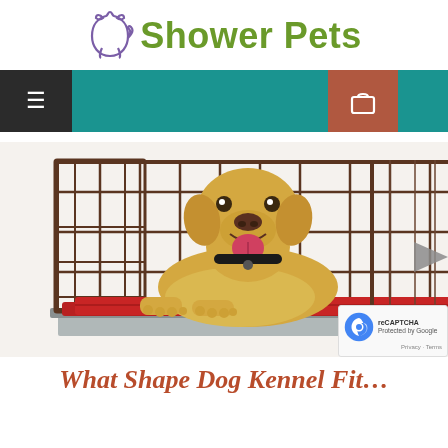[Figure (logo): Shower Pets logo with purple cat/dog outline icon and olive green bold text 'Shower Pets']
[Figure (screenshot): Navigation bar with dark hamburger menu button on left, teal background, and reddish-brown shopping cart button on right]
[Figure (photo): Yellow Labrador puppy lying inside a brown wire dog crate/kennel with a red mat, mouth open and panting, white background]
What Shape Dog Kennel Fit…